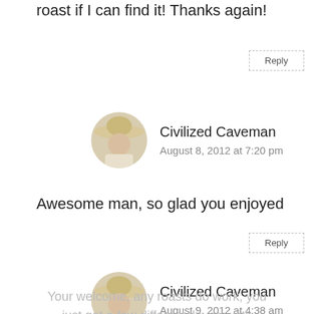roast if I can find it! Thanks again!
Reply
Civilized Caveman
August 8, 2012 at 7:20 pm
Awesome man, so glad you enjoyed
Reply
Civilized Caveman
August 9, 2012 at 4:38 am
Your welcome, any roasts do work, you just get a few different flavors with